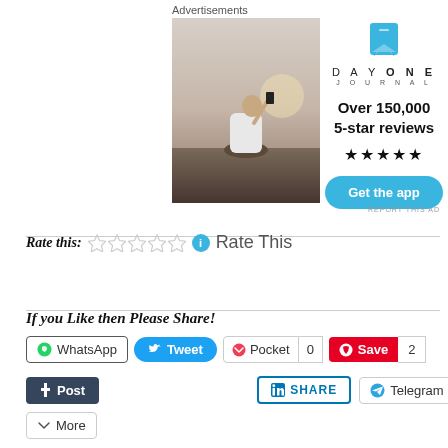Advertisements
[Figure (photo): Photo of person sitting on rocks taking a photo with phone against sunset sky]
[Figure (logo): Day One Journal app advertisement with blue bookmark icon, brand name, 5-star reviews and Get the app button]
REPORT THIS AD
Rate this: ☆☆☆☆☆ ℹ Rate This
If you Like then Please Share!
WhatsApp  Tweet  Pocket 0  Save 2
Post  SHARE  Telegram
More